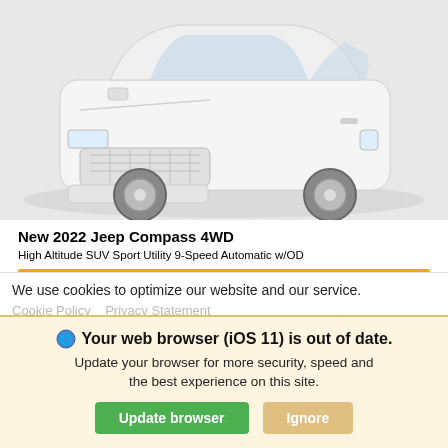[Figure (photo): Front view of a white 2022 Jeep Compass 4WD SUV on a light gray background]
New 2022 Jeep Compass 4WD
High Altitude SUV Sport Utility 9-Speed Automatic w/OD
| MSRP | Net Price |
| --- | --- |
| $38,235 | $37,235 |
Lease for Only $483
Finance 3.9% APR
We use cookies to optimize our website and our service.
Cookie Policy   Privacy Statement
Your web browser (iOS 11) is out of date. Update your browser for more security, speed and the best experience on this site.